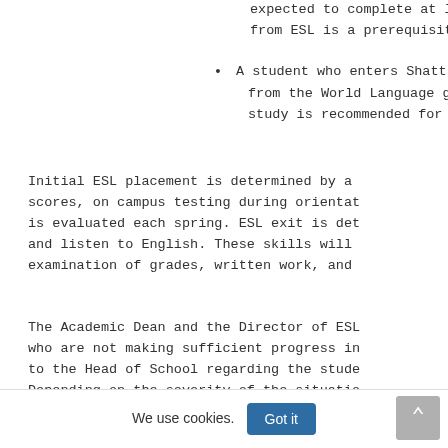expected to complete at le from ESL is a prerequisite
A student who enters Shatt from the World Language gr study is recommended for s
Initial ESL placement is determined by a scores, on campus testing during orientat is evaluated each spring. ESL exit is det and listen to English. These skills will examination of grades, written work, and
The Academic Dean and the Director of ESL who are not making sufficient progress in to the Head of School regarding the stude Depending on the severity of the situatio Shattuck-St. Mary's ESL instruction durin
We use cookies.